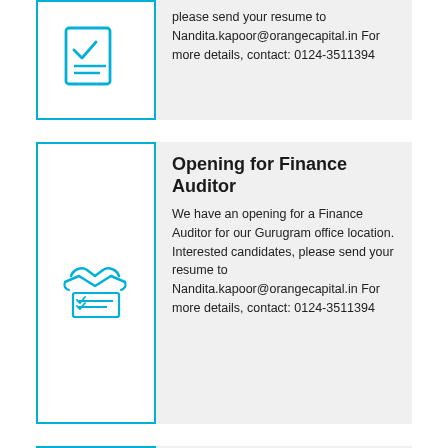[Figure (illustration): Blue icon of a document with checkmark and lines, inside a white box with cyan border]
please send your resume to Nandita.kapoor@orangecapital.in For more details, contact: 0124-3511394
Opening for Finance Auditor
[Figure (illustration): Blue icon of a handshake over a document with lines, inside a white box with cyan border]
We have an opening for a Finance Auditor for our Gurugram office location. Interested candidates, please send your resume to Nandita.kapoor@orangecapital.in For more details, contact: 0124-3511394
Opening for Claims Manager : Engineering